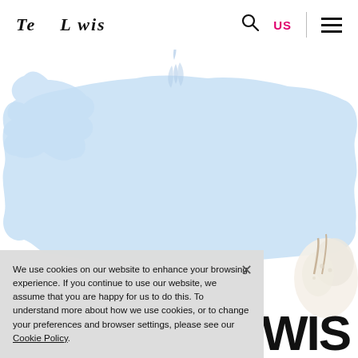Te L wis  [search] US [menu]
[Figure (illustration): Light blue amorphous blob/cloud shape on white background, representing a stylized animal or abstract form]
We use cookies on our website to enhance your browsing experience. If you continue to use our website, we assume that you are happy for us to do this. To understand more about how we use cookies, or to change your preferences and browser settings, please see our Cookie Policy.
[Figure (photo): Partial image on right side showing a white fluffy animal (possibly a goat or similar) with bold text 'WIS' overlaid at bottom]